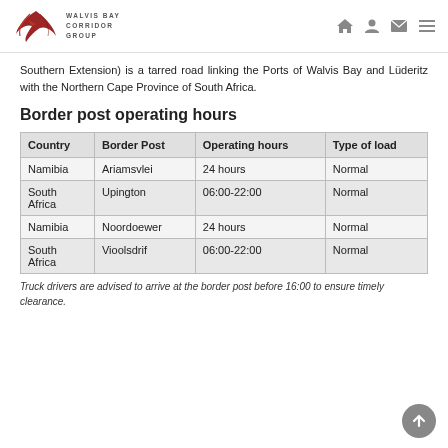Walvis Bay Corridor Group
Southern Extension) is a tarred road linking the Ports of Walvis Bay and Lüderitz with the Northern Cape Province of South Africa.
Border post operating hours
| Country | Border Post | Operating hours | Type of load |
| --- | --- | --- | --- |
| Namibia | Ariamsvlei | 24 hours | Normal |
| South Africa | Upington | 06:00-22:00 | Normal |
| Namibia | Noordoewer | 24 hours | Normal |
| South Africa | Vioolsdrif | 06:00-22:00 | Normal |
Truck drivers are advised to arrive at the border post before 16:00 to ensure timely clearance.